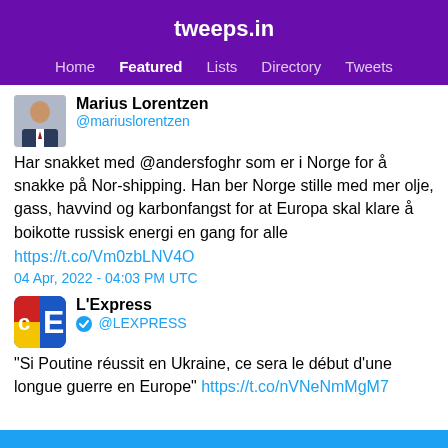tweeps.in
Home  Featured  Lists  Directory  Tweets
Marius Lorentzen
@mariuslorentzen
Har snakket med @andersfoghr som er i Norge for å snakke på Nor-shipping. Han ber Norge stille med mer olje, gass, havvind og karbonfangst for at Europa skal klare å boikotte russisk energi en gang for alle
https://t.co/Vm0zbLNV4O
04 Apr, 2022 - 04:03 PM UTC
L'Express
@LEXPRESS
"Si Poutine réussit en Ukraine, ce sera le début d'une longue guerre en Europe" https://t.co/nVNeNmMgM7